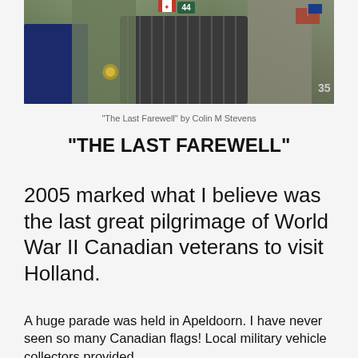[Figure (photo): Military vehicle (WWII-era truck/jeep) with Canadian flag and number 44 displayed, photographed at a parade in Apeldoorn, Holland]
"The Last Farewell" by Colin M Stevens
“THE LAST FAREWELL”
2005 marked what I believe was the last great pilgrimage of World War II Canadian veterans to visit Holland.
A huge parade was held in Apeldoorn. I have never seen so many Canadian flags! Local military vehicle collectors provided